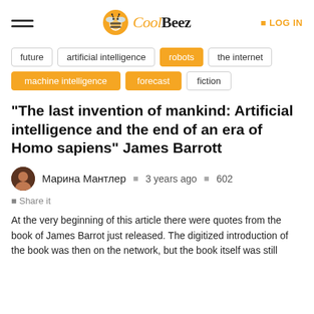CoolBeez | LOG IN
future
artificial intelligence
robots
the internet
machine intelligence
forecast
fiction
"The last invention of mankind: Artificial intelligence and the end of an era of Homo sapiens" James Barrott
Марина Мантлер   3 years ago   602
Share it
At the very beginning of this article there were quotes from the book of James Barrot just released. The digitized introduction of the book was then on the network, but the book itself was still